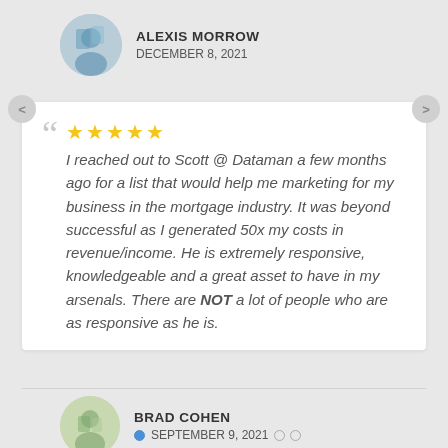[Figure (photo): Circular avatar photo of Alexis Morrow]
ALEXIS MORROW
DECEMBER 8, 2021
" ★★★★★ I reached out to Scott @ Dataman a few months ago for a list that would help me marketing for my business in the mortgage industry. It was beyond successful as I generated 50x my costs in revenue/income. He is extremely responsive, knowledgeable and a great asset to have in my arsenals. There are NOT a lot of people who are as responsive as he is.
[Figure (photo): Circular avatar photo of Brad Cohen]
BRAD COHEN
SEPTEMBER 9, 2021